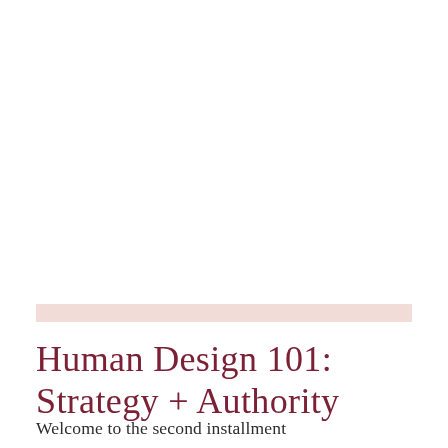Human Design 101: Strategy + Authority
Welcome to the second installment in our Human Design 101 series